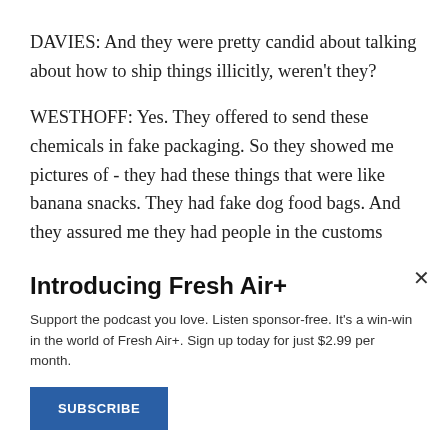DAVIES: And they were pretty candid about talking about how to ship things illicitly, weren't they?
WESTHOFF: Yes. They offered to send these chemicals in fake packaging. So they showed me pictures of - they had these things that were like banana snacks. They had fake dog food bags. And they assured me they had people in the customs area, not just in the U.S. but in China, too. So they basically promised 100% satisfaction in getting these
Introducing Fresh Air+
Support the podcast you love. Listen sponsor-free. It's a win-win in the world of Fresh Air+. Sign up today for just $2.99 per month.
SUBSCRIBE